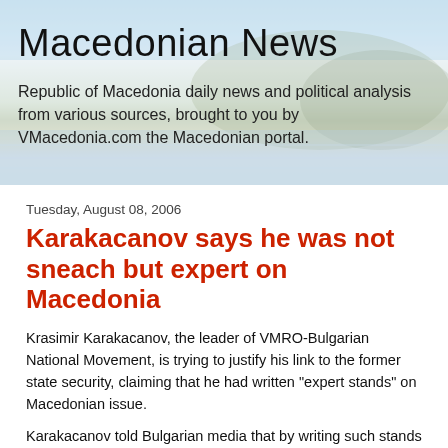[Figure (photo): Header banner showing Macedonian News with a scenic lake and town background photo with blue sky]
Macedonian News
Republic of Macedonia daily news and political analysis from various sources, brought to you by VMacedonia.com the Macedonian portal.
Tuesday, August 08, 2006
Karakacanov says he was not sneach but expert on Macedonia
Krasimir Karakacanov, the leader of VMRO-Bulgarian National Movement, is trying to justify his link to the former state security, claiming that he had written "expert stands" on Macedonian issue.
Karakacanov told Bulgarian media that by writing such stands he protected Bulgaria's national security, adding that he feels no shame in what he did. He also expressed regret for not holding enough powers at that time to protect the state over these issues.